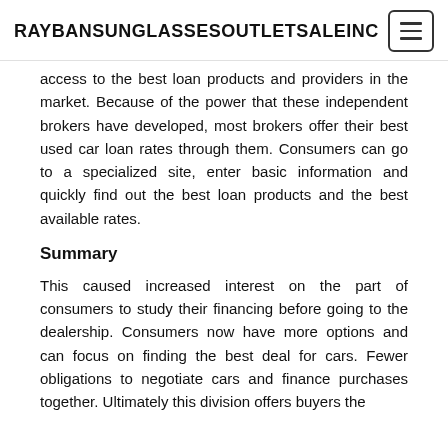RAYBANSUNGLASSESOUTLETSALEINC
access to the best loan products and providers in the market. Because of the power that these independent brokers have developed, most brokers offer their best used car loan rates through them. Consumers can go to a specialized site, enter basic information and quickly find out the best loan products and the best available rates.
Summary
This caused increased interest on the part of consumers to study their financing before going to the dealership. Consumers now have more options and can focus on finding the best deal for cars. Fewer obligations to negotiate cars and finance purchases together. Ultimately this division offers buyers the